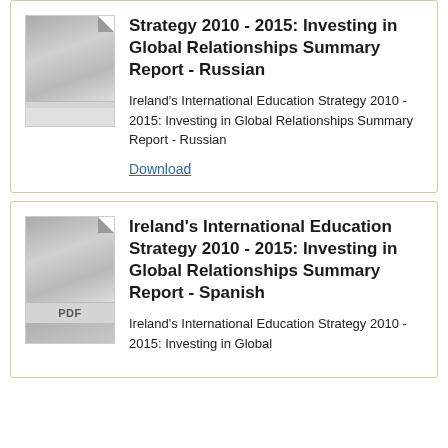[Figure (other): PDF thumbnail icon with grey gradient background and folded corner]
Strategy 2010 - 2015: Investing in Global Relationships Summary Report - Russian
Ireland's International Education Strategy 2010 - 2015: Investing in Global Relationships Summary Report - Russian
Download
[Figure (other): PDF thumbnail icon with grey gradient background and PDF label]
Ireland's International Education Strategy 2010 - 2015: Investing in Global Relationships Summary Report - Spanish
Ireland's International Education Strategy 2010 - 2015: Investing in Global